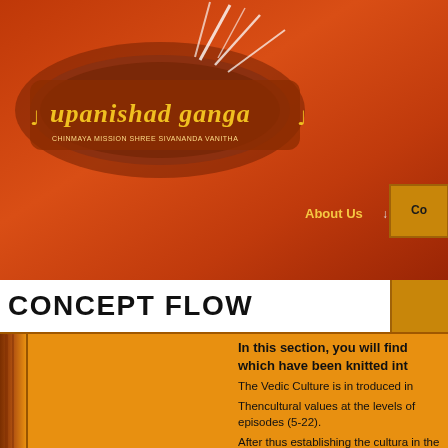[Figure (logo): Upanishad Ganga logo with stylized text on an orange-red background with decorative elements]
About Us ↓  Co
CONCEPT FLOW
In this section, you will find the concepts which have been knitted int
The Vedic Culture is in troduced in
Thencultural values at the levels of episodes (5-22).
After thus establishing the cultural in the next 20 episodes(23-42).
The practical steps that could be the next.nineepisodes (43-51).